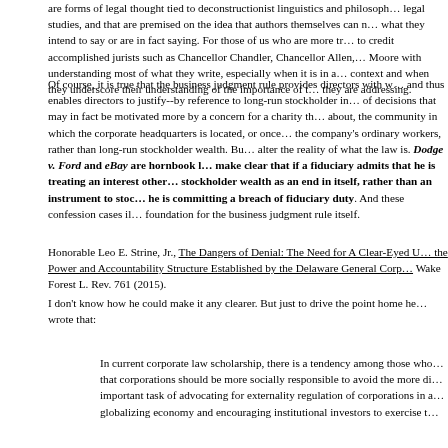are forms of legal thought tied to deconstructionist linguistics and philosophy, legal studies, and that are premised on the idea that authors themselves can not know what they intend to say or are in fact saying. For those of us who are more tr to credit accomplished jurists such as Chancellor Chandler, Chancellor Allen, Moore with understanding most of what they write, especially when it is in a context and when they underscore their understanding of the importance of t they are addressing.
Of course, it is true that the business judgment rule provides directors with w and thus enables directors to justify--by reference to long-run stockholder in of decisions that may in fact be motivated more by a concern for a charity th about, the community in which the corporate headquarters is located, or once the company's ordinary workers, rather than long-run stockholder wealth. Bu alter the reality of what the law is. Dodge v. Ford and eBay are hornbook l make clear that if a fiduciary admits that he is treating an interest other stockholder wealth as an end in itself, rather than an instrument to stoc he is committing a breach of fiduciary duty. And these confession cases il foundation for the business judgment rule itself.
Honorable Leo E. Strine, Jr., The Dangers of Denial: The Need for A Clear-Eyed U the Power and Accountability Structure Established by the Delaware General Corp Wake Forest L. Rev. 761 (2015).
I don't know how he could make it any clearer. But just to drive the point home he wrote that:
In current corporate law scholarship, there is a tendency among those who that corporations should be more socially responsible to avoid the more di important task of advocating for externality regulation of corporations in a globalizing economy and encouraging institutional investors to exercise t